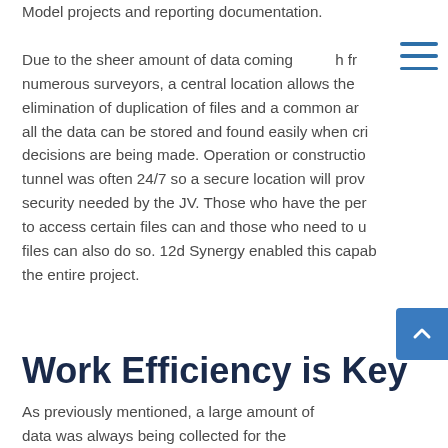Model projects and reporting documentation.
Due to the sheer amount of data coming from numerous surveyors, a central location allows the elimination of duplication of files and a common area all the data can be stored and found easily when critical decisions are being made. Operation or construction of the tunnel was often 24/7 so a secure location will provide the security needed by the JV. Those who have the permission to access certain files can and those who need to upload files can also do so. 12d Synergy enabled this capability the entire project.
Work Efficiency is Key
As previously mentioned, a large amount of data was always being collected for the